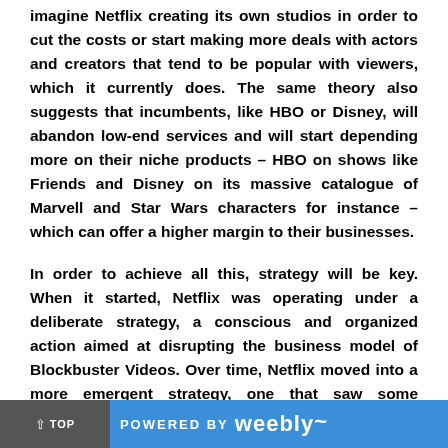imagine Netflix creating its own studios in order to cut the costs or start making more deals with actors and creators that tend to be popular with viewers, which it currently does. The same theory also suggests that incumbents, like HBO or Disney, will abandon low-end services and will start depending more on their niche products – HBO on shows like Friends and Disney on its massive catalogue of Marvell and Star Wars characters for instance – which can offer a higher margin to their businesses.
In order to achieve all this, strategy will be key. When it started, Netflix was operating under a deliberate strategy, a conscious and organized action aimed at disrupting the business model of Blockbuster Videos. Over time, Netflix moved into a more emergent strategy, one that saw some unplanned actions, i.e. the basis for original content, to emerge out of the initiatives of parts of the organization. Now, it appears to be the case that Netflix is operating under a more deliberate strategy again.
POWERED BY weebly